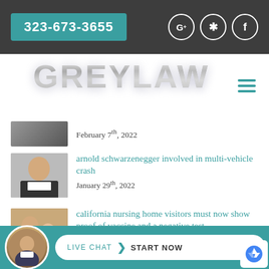323-673-3655
[Figure (logo): GREYLAW logo in metallic grey lettering with hamburger menu icon]
February 7th, 2022
arnold schwarzenegger involved in multi-vehicle crash
January 29th, 2022
california nursing home visitors must now show proof of vaccine and a negative test
January 20th, 2022
LIVE CHAT  START NOW